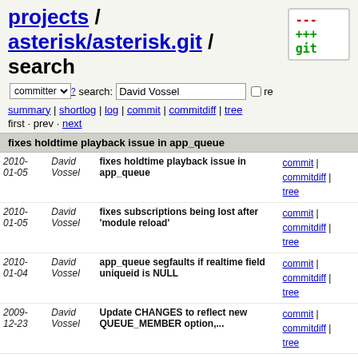projects / asterisk/asterisk.git / search
committer ? search: David Vossel re
summary | shortlog | log | commit | commitdiff | tree
first · prev · next
fixes holdtime playback issue in app_queue
| date | author | message | links |
| --- | --- | --- | --- |
| 2010-01-05 | David Vossel | fixes holdtime playback issue in app_queue | commit | commitdiff | tree |
| 2010-01-05 | David Vossel | fixes subscriptions being lost after 'module reload' | commit | commitdiff | tree |
| 2010-01-04 | David Vossel | app_queue segfaults if realtime field uniqueid is NULL | commit | commitdiff | tree |
| 2009-12-23 | David Vossel | Update CHANGES to reflect new QUEUE_MEMBER option,... | commit | commitdiff | tree |
| 2009-12-23 | David Vossel | QUEUE_MEMBER(..., ready) counts only ready agents,... | commit | commitdiff | tree |
| 2009-12-23 | David Vossel | update CHANGES to reflect new 'R' app_queue option... | commit | commitdiff | tree |
| 2009-12-23 | David Vossel | new parameter 'R' to the Queue application | commit | commitdiff | tree |
| 2009-12-22 | David Vossel | fixes iax "can't compress subclass 4294967295" error | commit | commitdiff | tree |
| 2009-12-?? | David Vossel | Merged revisions 236062 via | commit | commitdiff |